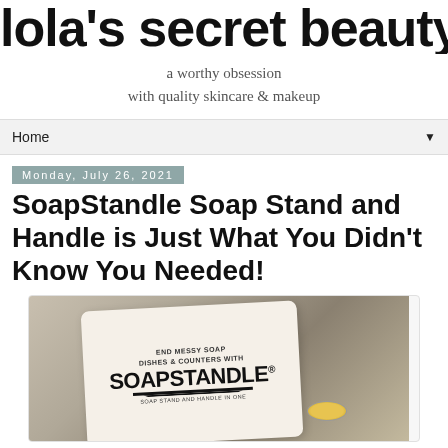lola's secret beauty blog
a worthy obsession
with quality skincare & makeup
Home
Monday, July 26, 2021
SoapStandle Soap Stand and Handle is Just What You Didn't Know You Needed!
[Figure (photo): Product photo of SoapStandle packaging on a marble surface. The card packaging reads 'END MESSY SOAP DISHES & COUNTERS WITH SOAPSTANDLE® SOAP STAND AND HANDLE IN ONE' with a small gold-colored soap item visible at the bottom.]